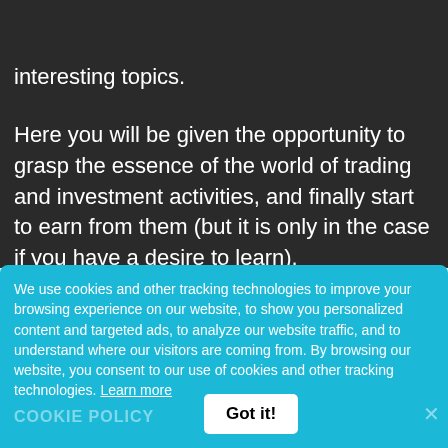SAFETRADE BINARYOPTIONS
interesting topics.
Here you will be given the opportunity to grasp the essence of the world of trading and investment activities, and finally start to earn from them (but it is only in the case if you have a desire to learn).
We use cookies and other tracking technologies to improve your browsing experience on our website, to show you personalized content and targeted ads, to analyze our website traffic, and to understand where our visitors are coming from. By browsing our website, you consent to our use of cookies and other tracking technologies. Learn more
COOKIE POLICY
Got it!